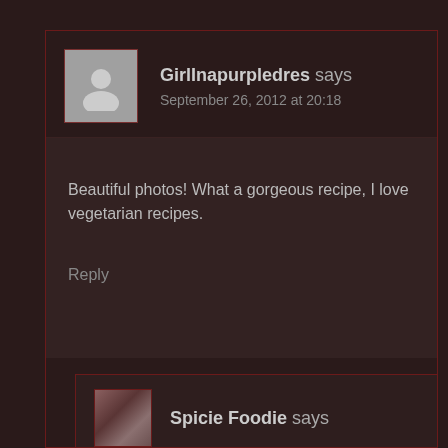GirlInapurpledres says
September 26, 2012 at 20:18
Beautiful photos! What a gorgeous recipe, I love vegetarian recipes.
Reply
Spicie Foodie says